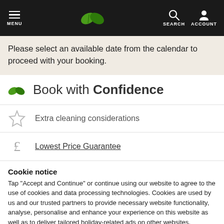MENU | [logo] | SEARCH ACCOUNT
Please select an available date from the calendar to proceed with your booking.
Book with Confidence
Extra cleaning considerations
Lowest Price Guarantee
Cookie notice
Tap "Accept and Continue" or continue using our website to agree to the use of cookies and data processing technologies. Cookies are used by us and our trusted partners to provide necessary website functionality, analyse, personalise and enhance your experience on this website as well as to deliver tailored holiday-related ads on other websites.
Accept and Continue